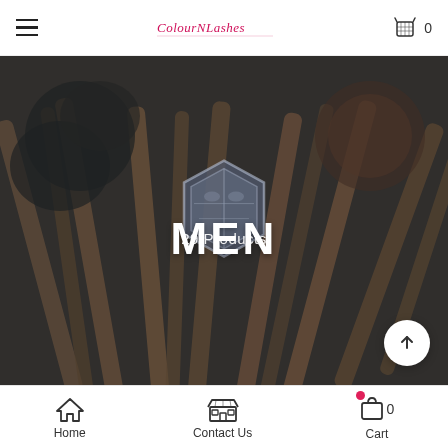ColourNLashes — navigation bar with hamburger menu, logo, and cart icon (0)
[Figure (screenshot): Hero banner with dark overlaid spice/cinnamon background image, decorative hexagonal badge icon in center, bold white text 'MEN' and subtitle '29 Products']
MEN
29 Products
Home | Contact Us | Cart 0